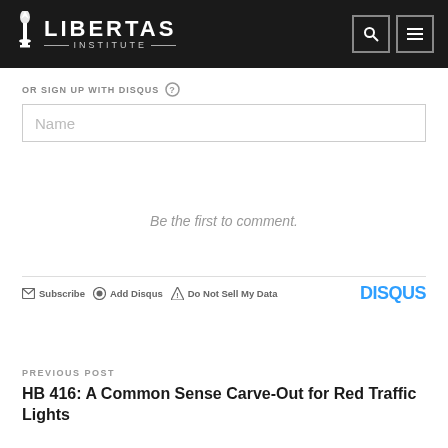[Figure (logo): Libertas Institute logo with torch icon and text on dark background, plus search and menu icons]
OR SIGN UP WITH DISQUS
Name
Be the first to comment.
Subscribe  Add Disqus  Do Not Sell My Data  DISQUS
PREVIOUS POST
HB 416: A Common Sense Carve-Out for Red Traffic Lights